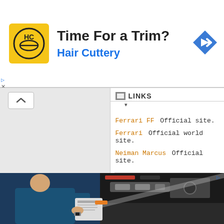[Figure (screenshot): Hair Cuttery advertisement banner with yellow HC logo, headline 'Time For a Trim?' and brand name 'Hair Cuttery', blue navigation arrow icon on right]
[Figure (screenshot): Left panel showing a collapsed map view with gray background and a collapse/expand button with caret up symbol]
LINKS
Ferrari FF   Official site.
Ferrari   Official world site.
Neiman Marcus   Official site.
SUBMIT CONTENT
© 2022 Cartype Inc. All logos, name
[Figure (photo): Bottom advertisement photo showing a mechanic in blue uniform leaning over a car engine with a clipboard]